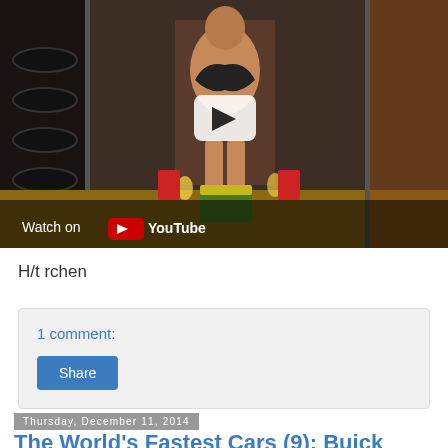[Figure (screenshot): YouTube video thumbnail showing a woman in a garage/warehouse setting with tires and oil cans, with a play button overlay and 'Watch on YouTube' text at the bottom left]
H/t rchen
1 comment:
Share
Thursday, December 11, 2014
The World's Fastest Cars (9): Buick